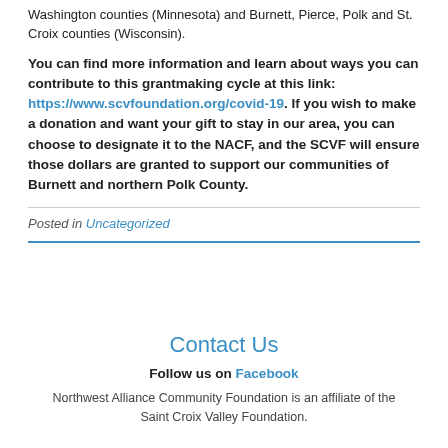Washington counties (Minnesota) and Burnett, Pierce, Polk and St. Croix counties (Wisconsin).
You can find more information and learn about ways you can contribute to this grantmaking cycle at this link: https://www.scvfoundation.org/covid-19. If you wish to make a donation and want your gift to stay in our area, you can choose to designate it to the NACF, and the SCVF will ensure those dollars are granted to support our communities of Burnett and northern Polk County.
Posted in Uncategorized
Contact Us
Follow us on Facebook
Northwest Alliance Community Foundation is an affiliate of the Saint Croix Valley Foundation.